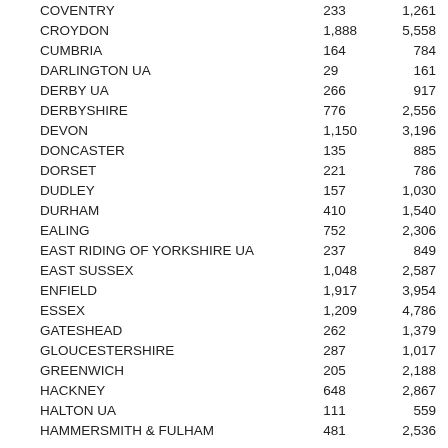| COVENTRY | 233 | 1,261 |
| CROYDON | 1,888 | 5,558 |
| CUMBRIA | 164 | 784 |
| DARLINGTON UA | 29 | 161 |
| DERBY UA | 266 | 917 |
| DERBYSHIRE | 776 | 2,556 |
| DEVON | 1,150 | 3,196 |
| DONCASTER | 135 | 885 |
| DORSET | 221 | 786 |
| DUDLEY | 157 | 1,030 |
| DURHAM | 410 | 1,540 |
| EALING | 752 | 2,306 |
| EAST RIDING OF YORKSHIRE UA | 237 | 849 |
| EAST SUSSEX | 1,048 | 2,587 |
| ENFIELD | 1,917 | 3,954 |
| ESSEX | 1,209 | 4,786 |
| GATESHEAD | 262 | 1,379 |
| GLOUCESTERSHIRE | 287 | 1,017 |
| GREENWICH | 205 | 2,188 |
| HACKNEY | 648 | 2,867 |
| HALTON UA | 111 | 559 |
| HAMMERSMITH & FULHAM | 481 | 2,536 |